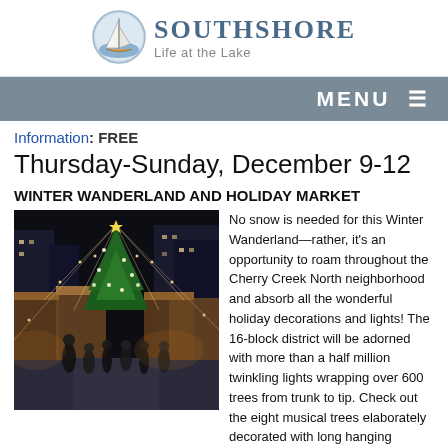[Figure (logo): Southshore 'Life at the Lake' logo with sailboat emblem and text]
MENU ≡
Information: FREE
Thursday-Sunday, December 9-12
WINTER WANDERLAND AND HOLIDAY MARKET
[Figure (photo): Nighttime photo of a Christmas market with festive lights and a large illuminated tree, people walking through market stalls]
No snow is needed for this Winter Wanderland—rather, it's an opportunity to roam throughout the Cherry Creek North neighborhood and absorb all the wonderful holiday decorations and lights! The 16-block district will be adorned with more than a half million twinkling lights wrapping over 600 trees from trunk to tip. Check out the eight musical trees elaborately decorated with long hanging strands of lights in motion! You'll also get to enjoy the Cherry Creek North Holiday